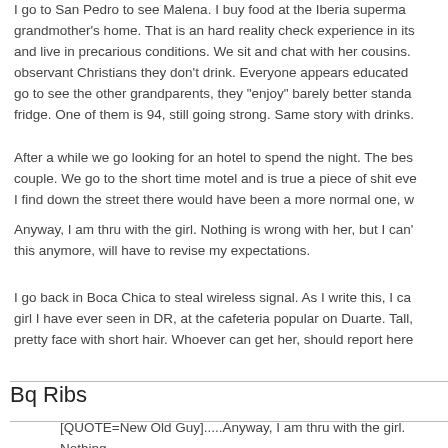I go to San Pedro to see Malena. I buy food at the Iberia supermarket and go to grandmother's home. That is an hard reality check experience in its own. They work hard and live in precarious conditions. We sit and chat with her cousins. observant Christians they don't drink. Everyone appears educated go to see the other grandparents, they "enjoy" barely better standards. They have a fridge. One of them is 94, still going strong. Same story with drinks.
After a while we go looking for an hotel to spend the night. The best place for a couple. We go to the short time motel and is true a piece of shit even. I find down the street there would have been a more normal one, w
Anyway, I am thru with the girl. Nothing is wrong with her, but I can't take this anymore, will have to revise my expectations.
I go back in Boca Chica to steal wireless signal. As I write this, I can see the hottest girl I have ever seen in DR, at the cafeteria popular on Duarte. Tall, pretty face with short hair. Whoever can get her, should report here
Bq Ribs
[QUOTE=New Old Guy].....Anyway, I am thru with the girl. Nothing can't take the implications of this anymore, will have to revise my e What were your expectations?